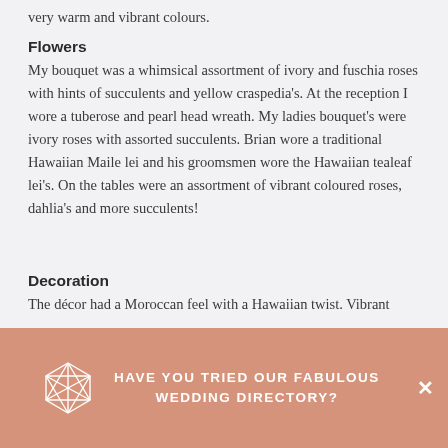very warm and vibrant colours.
Flowers
My bouquet was a whimsical assortment of ivory and fuschia roses with hints of succulents and yellow craspedia's. At the reception I wore a tuberose and pearl head wreath. My ladies bouquet's were ivory roses with assorted succulents. Brian wore a traditional Hawaiian Maile lei and his groomsmen wore the Hawaiian tealeaf lei's. On the tables were an assortment of vibrant coloured roses, dahlia's and more succulents!
Decoration
The décor had a Moroccan feel with a Hawaiian twist. Vibrant
[Figure (logo): Geometric gem/crystal wireframe logo icon in white outline on salmon/terracotta background]
HAVE YOU TRIED OUR FABULOUS WEDDING DIRECTORY?